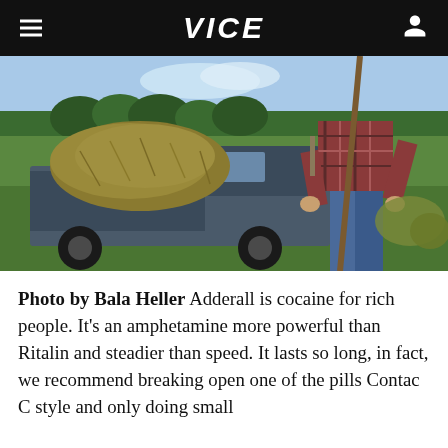VICE
[Figure (photo): A person in a plaid shirt shoveling hay/mulch from the bed of a pickup truck in a green field]
Photo by Bala Heller Adderall is cocaine for rich people. It's an amphetamine more powerful than Ritalin and steadier than speed. It lasts so long, in fact, we recommend breaking open one of the pills Contac C style and only doing small